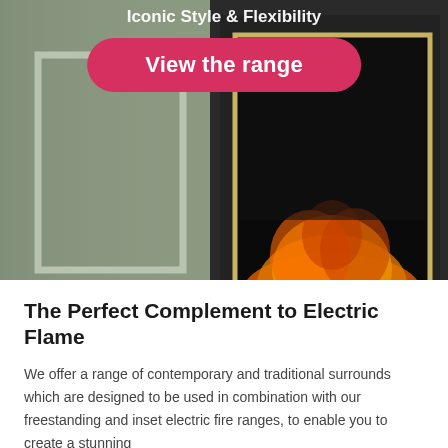Iconic Style & Flexibility
[Figure (photo): Photo of an electric fireplace with dark surround and glowing flame effect, set against a grey-green painted wall with white panelling]
View the range
The Perfect Complement to Electric Flame
We offer a range of contemporary and traditional surrounds which are designed to be used in combination with our freestanding and inset electric fire ranges, to enable you to create a stunning